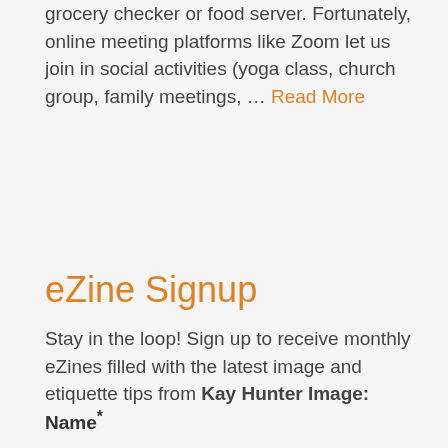grocery checker or food server. Fortunately, online meeting platforms like Zoom let us join in social activities (yoga class, church group, family meetings, … Read More
eZine Signup
Stay in the loop! Sign up to receive monthly eZines filled with the latest image and etiquette tips from Kay Hunter Image:
Name*